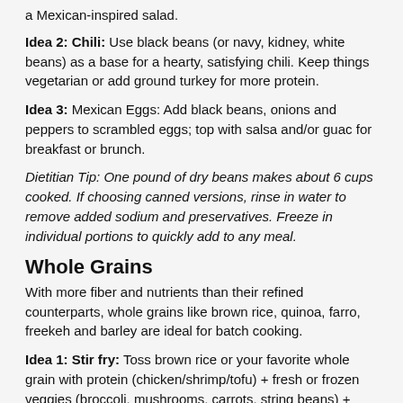a Mexican-inspired salad.
Idea 2: Chili: Use black beans (or navy, kidney, white beans) as a base for a hearty, satisfying chili. Keep things vegetarian or add ground turkey for more protein.
Idea 3: Mexican Eggs: Add black beans, onions and peppers to scrambled eggs; top with salsa and/or guac for breakfast or brunch.
Dietitian Tip: One pound of dry beans makes about 6 cups cooked. If choosing canned versions, rinse in water to remove added sodium and preservatives. Freeze in individual portions to quickly add to any meal.
Whole Grains
With more fiber and nutrients than their refined counterparts, whole grains like brown rice, quinoa, farro, freekeh and barley are ideal for batch cooking.
Idea 1: Stir fry: Toss brown rice or your favorite whole grain with protein (chicken/shrimp/tofu) + fresh or frozen veggies (broccoli, mushrooms, carrots, string beans) + marinade of choice
Idea 2: Cold Salad: Add to a green salad for a boost of energizing complex carbs